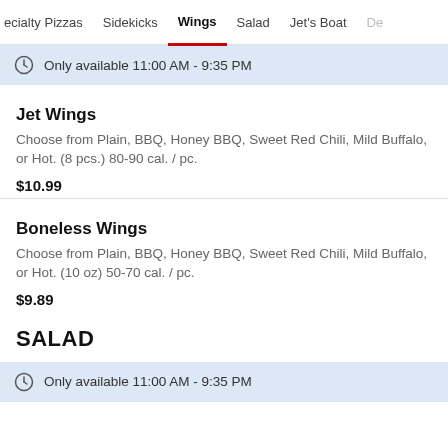ecialty Pizzas | Sidekicks | Wings | Salad | Jet's Boat | De
Only available 11:00 AM - 9:35 PM
Jet Wings
Choose from Plain, BBQ, Honey BBQ, Sweet Red Chili, Mild Buffalo, or Hot. (8 pcs.) 80-90 cal. / pc.
$10.99
Boneless Wings
Choose from Plain, BBQ, Honey BBQ, Sweet Red Chili, Mild Buffalo, or Hot. (10 oz) 50-70 cal. / pc.
$9.89
SALAD
Only available 11:00 AM - 9:35 PM